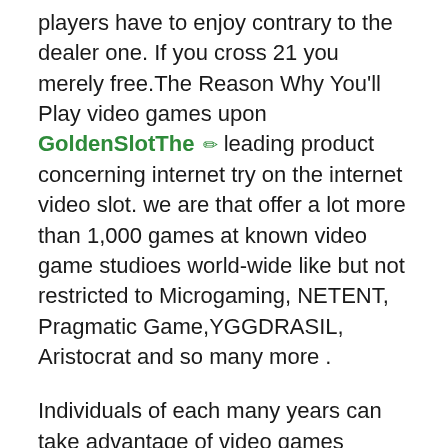players have to enjoy contrary to the dealer one. If you cross 21 you merely free.The Reason Why You'll Play video games upon GoldenSlotThe ✏ leading product concerning internet try on the internet video slot. we are that offer a lot more than 1,000 games at known video game studioes world-wide like but not restricted to Microgaming, NETENT, Pragmatic Game,YGGDRASIL, Aristocrat and so many more .
Individuals of each many years can take advantage of video games towards memory. But most video games are basically concerning adults one. Such games is meant to be played through many people together or you may also perform only. For the growth of long haul memory, it is important of that one data to connect it self at understanding currently saved within your brain. Memory video games is pleasing inside participate in